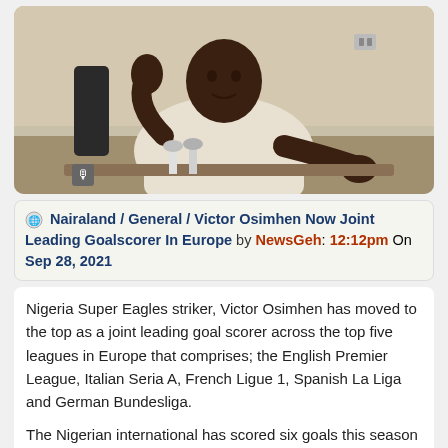[Figure (photo): A man in a white traditional Nigerian outfit sitting at a desk, gesturing with his hands, with microphones in front of him.]
Nairaland / General / Victor Osimhen Now Joint Leading Goalscorer In Europe by NewsGeh: 12:12pm On Sep 28, 2021
Nigeria Super Eagles striker, Victor Osimhen has moved to the top as a joint leading goal scorer across the top five leagues in Europe that comprises; the English Premier League, Italian Seria A, French Ligue 1, Spanish La Liga and German Bundesliga.

The Nigerian international has scored six goals this season in Serie A, a feat only matched by Real Madrid's